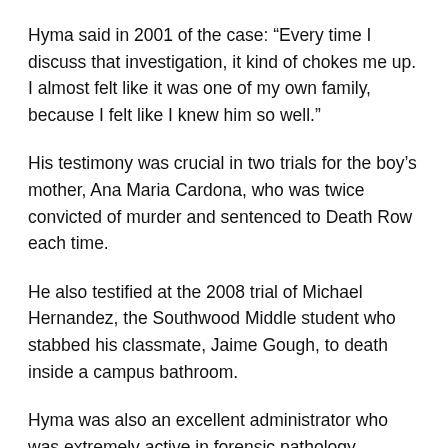Hyma said in 2001 of the case: “Every time I discuss that investigation, it kind of chokes me up. I almost felt like it was one of my own family, because I felt like I knew him so well.”
His testimony was crucial in two trials for the boy’s mother, Ana Maria Cardona, who was twice convicted of murder and sentenced to Death Row each time.
He also testified at the 2008 trial of Michael Hernandez, the Southwood Middle student who stabbed his classmate, Jaime Gough, to death inside a campus bathroom.
Hyma was also an excellent administrator who was extremely active in forensic pathology associations across the country. For many years, he chaired Florida’s